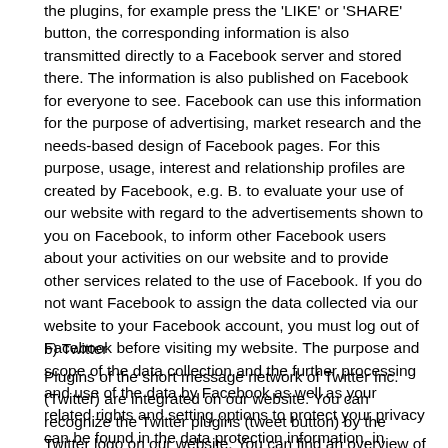the plugins, for example press the 'LIKE' or 'SHARE' button, the corresponding information is also transmitted directly to a Facebook server and stored there. The information is also published on Facebook for everyone to see. Facebook can use this information for the purpose of advertising, market research and the needs-based design of Facebook pages. For this purpose, usage, interest and relationship profiles are created by Facebook, e.g. B. to evaluate your use of our website with regard to the advertisements shown to you on Facebook, to inform other Facebook users about your activities on our website and to provide other services related to the use of Facebook. If you do not want Facebook to assign the data collected via our website to your Facebook account, you must log out of Facebook before visiting my website. The purpose and scope of the data collection and the further processing and use of the data by Facebook as well as your related rights and setting options to protect your privacy can be found in the data protection information, in particular the Facebook data guideline, which you can view under the following link: https: // www.facebook.com/about/privacy/
b) Twitter
Plugins of the short message network of Twitter Inc. (Twitter) are integrated on our website. You can recognize the Twitter plugins (tweet button) by the Twitter logo on our website. You can find an overview of tweet buttons under this link on Twitter: